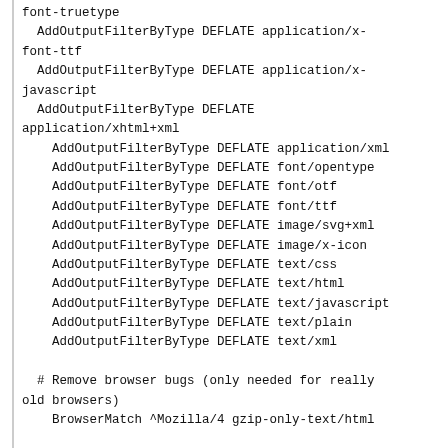font-truetype
  AddOutputFilterByType DEFLATE application/x-font-ttf
  AddOutputFilterByType DEFLATE application/x-javascript
  AddOutputFilterByType DEFLATE application/xhtml+xml
    AddOutputFilterByType DEFLATE application/xml
    AddOutputFilterByType DEFLATE font/opentype
    AddOutputFilterByType DEFLATE font/otf
    AddOutputFilterByType DEFLATE font/ttf
    AddOutputFilterByType DEFLATE image/svg+xml
    AddOutputFilterByType DEFLATE image/x-icon
    AddOutputFilterByType DEFLATE text/css
    AddOutputFilterByType DEFLATE text/html
    AddOutputFilterByType DEFLATE text/javascript
    AddOutputFilterByType DEFLATE text/plain
    AddOutputFilterByType DEFLATE text/xml

  # Remove browser bugs (only needed for really old browsers)
    BrowserMatch ^Mozilla/4 gzip-only-text/html